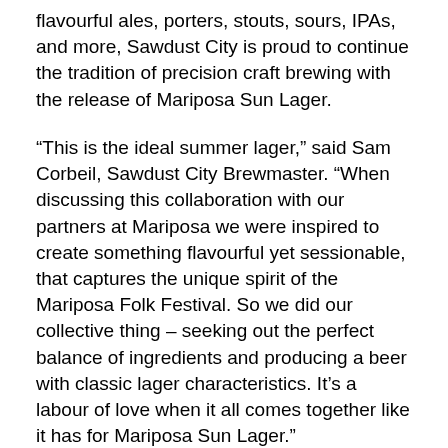flavourful ales, porters, stouts, sours, IPAs, and more, Sawdust City is proud to continue the tradition of precision craft brewing with the release of Mariposa Sun Lager.
“This is the ideal summer lager,” said Sam Corbeil, Sawdust City Brewmaster. “When discussing this collaboration with our partners at Mariposa we were inspired to create something flavourful yet sessionable, that captures the unique spirit of the Mariposa Folk Festival. So we did our collective thing – seeking out the perfect balance of ingredients and producing a beer with classic lager characteristics. It’s a labour of love when it all comes together like it has for Mariposa Sun Lager.”
The beer’s name and label are nods to the magical Mariposa moments that have been shared for more than 60 plus years. “Everyone who has attended the